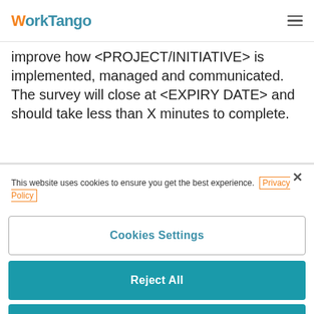WorkTango
improve how <PROJECT/INITIATIVE> is implemented, managed and communicated. The survey will close at <EXPIRY DATE> and should take less than X minutes to complete.
This website uses cookies to ensure you get the best experience. Privacy Policy
Cookies Settings
Reject All
Accept All Cookies